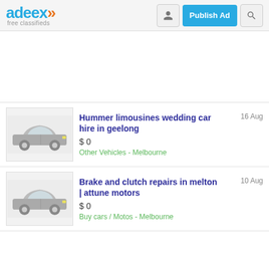adeex free classifieds
Hummer limousines wedding car hire in geelong - $0 - Other Vehicles - Melbourne - 16 Aug
Brake and clutch repairs in melton | attune motors - $0 - Buy cars / Motos - Melbourne - 10 Aug